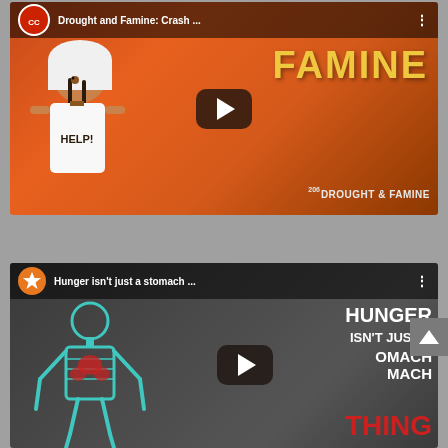[Figure (screenshot): YouTube video thumbnail for 'Drought and Famine: Crash...' showing an animated character holding a 'HELP!' sign against an orange background with large 'FAMINE' text and 'DROUGHT & FAMINE' label. Has a play button overlay.]
[Figure (screenshot): YouTube video thumbnail for 'Hunger isn't just a stomach...' showing a teal/cyan skeleton figure illustration against a dark background with bold text reading 'HUNGER ISN'T JUST A STOMACH THING' in white and red. Has a play button overlay.]